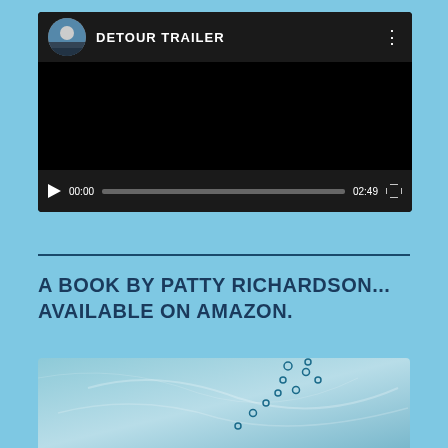[Figure (screenshot): Video player showing 'DETOUR TRAILER' with a circular avatar profile image, black video content area, play button, time display 00:00, progress bar, total time 02:49, and fullscreen button]
A BOOK BY PATTY RICHARDSON... AVAILABLE ON AMAZON.
[Figure (photo): Partial book cover image showing a light blue/teal water-like background with small circular bubble or dot patterns scattered across it]